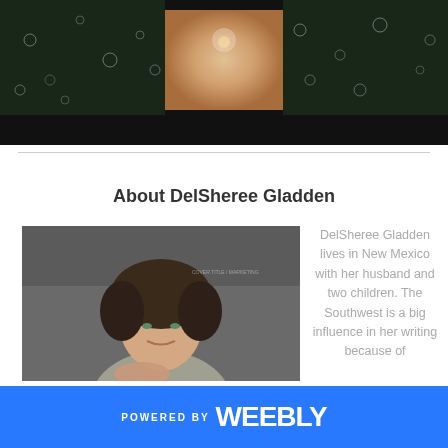[Figure (photo): Dark banner image showing water droplets / rain on glass with a bright warm-colored square image in the center]
About DelSheree Gladden
[Figure (photo): Professional portrait photo of DelSheree Gladden, a woman with short curly dark hair wearing a grey cardigan, hand resting near her neck, against a grey studio background]
DelSheree Gladden lives in New Mexico with her husband and two children. The Southwest is a big influence in her writing because of
POWERED BY weebly